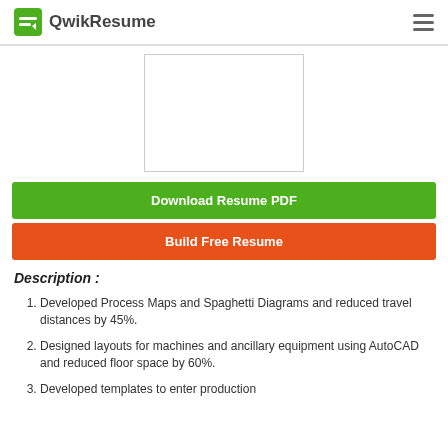QwikResume
[Figure (other): Resume preview thumbnail — white rectangle with light gray border representing a resume document preview]
Download Resume PDF
Build Free Resume
Description :
Developed Process Maps and Spaghetti Diagrams and reduced travel distances by 45%.
Designed layouts for machines and ancillary equipment using AutoCAD and reduced floor space by 60%.
Developed templates to enter production